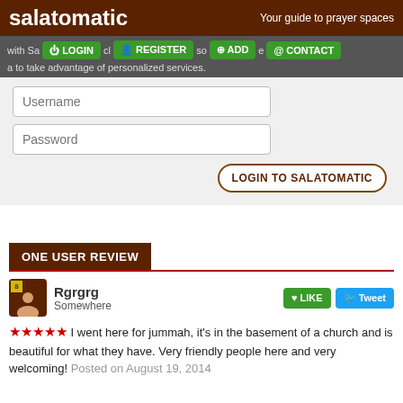salatomatic — Your guide to prayer spaces
with Salatomatic so you can take advantage of personalized services.
[Figure (screenshot): Login form with Username and Password fields and LOGIN TO SALATOMATIC button]
ONE USER REVIEW
Rgrgrg — Somewhere
★★★★★ I went here for jummah, it's in the basement of a church and is beautiful for what they have. Very friendly people here and very welcoming! Posted on August 19, 2014